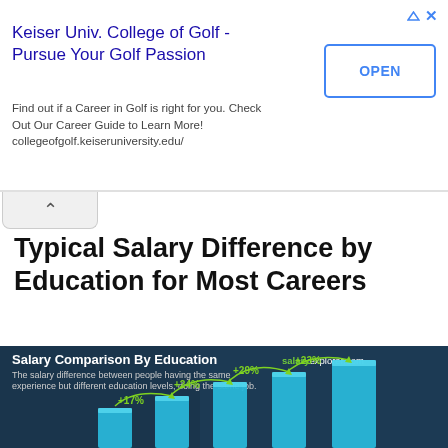[Figure (screenshot): Advertisement banner for Keiser University College of Golf with title, body text, and OPEN button]
Typical Salary Difference by Education for Most Careers
[Figure (infographic): Salary Comparison By Education infographic from salaryexplorer.com showing salary differences of +17%, +24%, +29%, +23% between education levels with blue 3D bar chart and people in background]